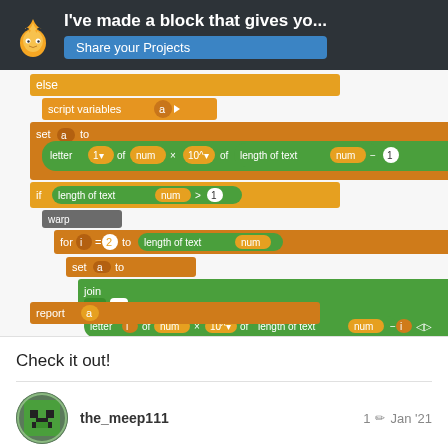I've made a block that gives yo... Share your Projects
[Figure (screenshot): Screenshot of a Scratch programming blocks script showing: else block with script variables (a), set a to letter 1 of num × 10^v of length of text num − 1, if length of text num > 1, warp block, for i = 2 to length of text num, set a to join a [+] letter i of num × 10^v of length of text num − i, report a]
Check it out!
the_meep111
1 ✏ Jan '21
@helicoptur It now has the option to be a text! You select which one you want it to be
12 / 58